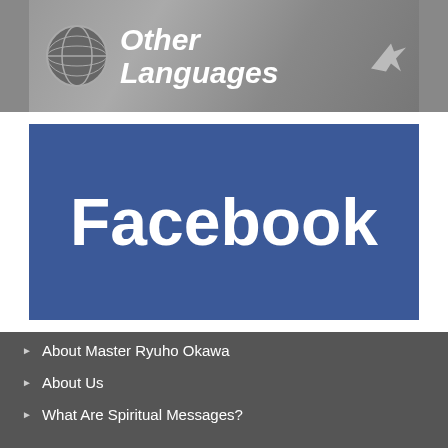[Figure (illustration): Other Languages banner with globe icon and airplane icon on gray gradient background]
[Figure (logo): Facebook logo banner - blue background with white bold Facebook text]
About Master Ryuho Okawa
About Us
What Are Spiritual Messages?
Volunteers & Staff Wanted
Contact Us
ENGLISH | JAPANESE | CHINESE | OTHERS
[Figure (logo): TheLibertyWeb logo - red background with globe icon, bold text TheLibertyWeb and tagline True insight into world affairs]
Copyright © IRH Press Co.Ltd. All Right Reserved.